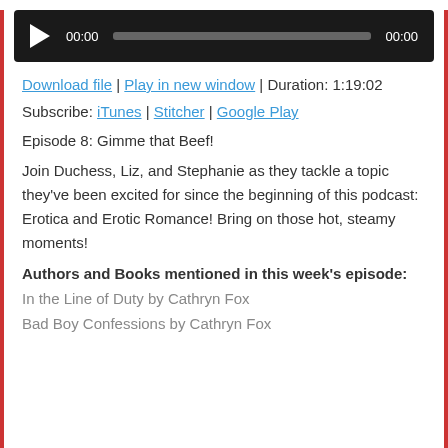[Figure (other): Audio player bar with play button, time display 00:00, progress bar, and end time 00:00 on dark background]
Download file | Play in new window | Duration: 1:19:02
Subscribe: iTunes | Stitcher | Google Play
Episode 8: Gimme that Beef!
Join Duchess, Liz, and Stephanie as they tackle a topic they've been excited for since the beginning of this podcast: Erotica and Erotic Romance! Bring on those hot, steamy moments!
Authors and Books mentioned in this week's episode:
In the Line of Duty by Cathryn Fox
Bad Boy Confessions by Cathryn Fox